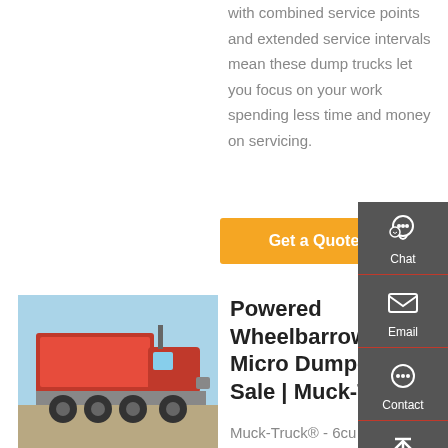with combined service points and extended service intervals mean these dump trucks let you focus on your work spending less time and money on servicing.
Get a Quote
[Figure (photo): Red dump truck (large articulated tipper) parked on a dirt surface]
Powered Wheelbarrow | Micro Dumper For Sale | Muck-Truck®
Muck-Truck® - 6cu ft. skip/bucket. The Muck-Truck® original mini-dumper can carry